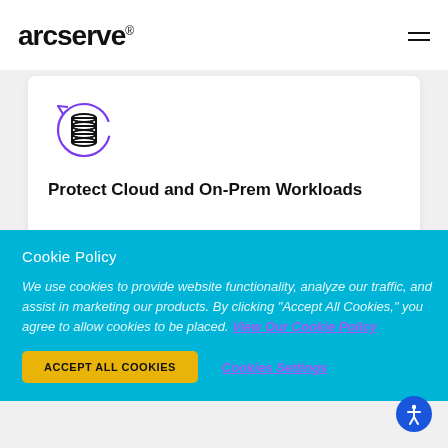arcserve
[Figure (illustration): Circular arrow icon with a database/stacked cylinders icon in the center, drawn in dark outline with a purple circular arrow]
Protect Cloud and On-Prem Workloads
Cookie Policy
We use cookies to provide website functionality, analyze our traffic, and assist in marketing our products. By clicking "Accept All Cookies," you agree to allow cookies to be placed. View Our Cookie Policy
ACCEPT ALL COOKIES
Cookies Settings